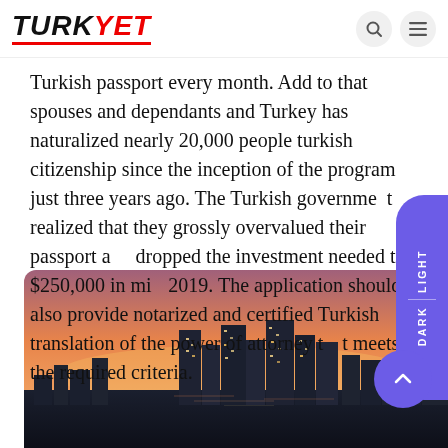TURKYET
Turkish passport every month. Add to that spouses and dependants and Turkey has naturalized nearly 20,000 people turkish citizenship since the inception of the program just three years ago. The Turkish government realized that they grossly overvalued their passport and dropped the investment needed to $250,000 in mid-2019. The application should also provide notarized and certified Turkish translation of the power of attorney that meets the required criteria.
[Figure (photo): Cityscape of Istanbul at dusk/sunset with illuminated skyscrapers and orange-pink sky]